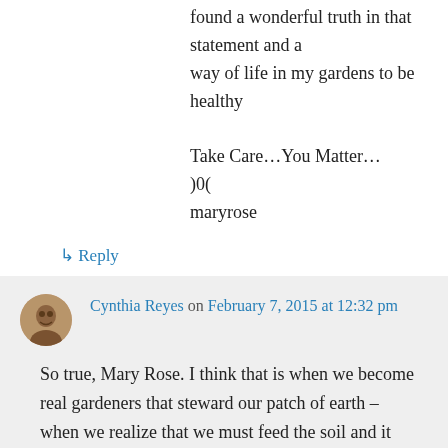found a wonderful truth in that statement and a way of life in my gardens to be healthy

Take Care…You Matter…
)0(
maryrose
↳ Reply
Cynthia Reyes on February 7, 2015 at 12:32 pm
So true, Mary Rose. I think that is when we become real gardeners that steward our patch of earth – when we realize that we must feed the soil and it will feed the plants.